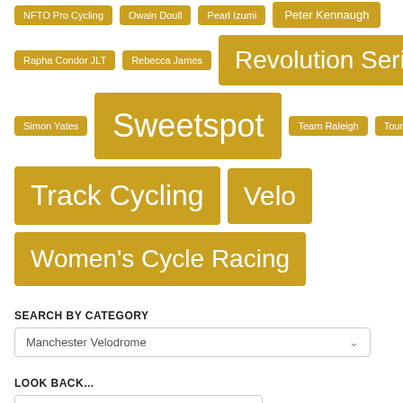NFTO Pro Cycling
Owain Doull
Pearl Izumi
Peter Kennaugh
Rapha Condor JLT
Rebecca James
Revolution Series
Simon Yates
Sweetspot
Team Raleigh
Tour Series
Track Cycling
Velo
Women's Cycle Racing
SEARCH BY CATEGORY
Manchester Velodrome
LOOK BACK...
Select Month